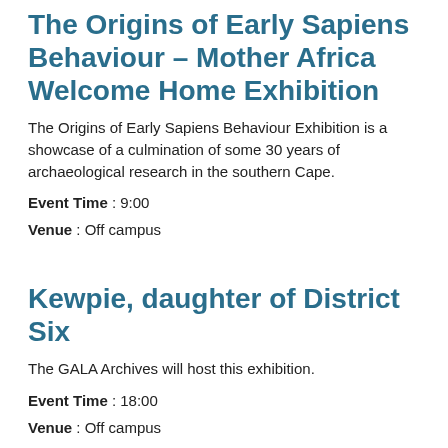The Origins of Early Sapiens Behaviour – Mother Africa Welcome Home Exhibition
The Origins of Early Sapiens Behaviour Exhibition is a showcase of a culmination of some 30 years of archaeological research in the southern Cape.
Event Time : 9:00
Venue : Off campus
Kewpie, daughter of District Six
The GALA Archives will host this exhibition.
Event Time : 18:00
Venue : Off campus